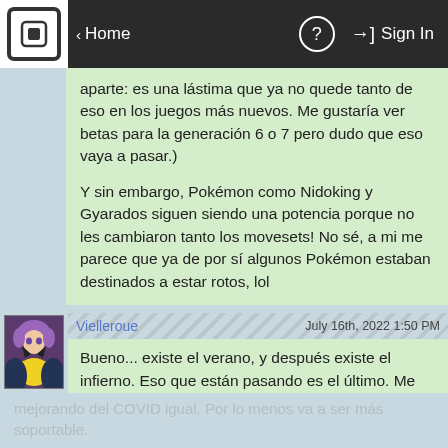Home | Sign In
aparte: es una lástima que ya no quede tanto de eso en los juegos más nuevos. Me gustaría ver betas para la generación 6 o 7 pero dudo que eso vaya a pasar.)

Y sin embargo, Pokémon como Nidoking y Gyarados siguen siendo una potencia porque no les cambiaron tanto los movesets! No sé, a mi me parece que ya de por sí algunos Pokémon estaban destinados a estar rotos, lol
Vielleroue   July 16th, 2022 1:50 PM
Bueno... existe el verano, y después existe el infierno. Eso que están pasando es el último. Me alegra saber que vas
mejorando del COVID igual. Por lo menos va a ser más soportable.